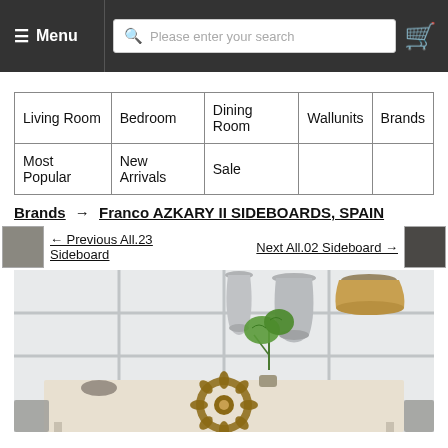≡ Menu | [search bar: Please enter your search] [cart icon]
| Living Room | Bedroom | Dining Room | Wallunits | Brands |
| Most Popular | New Arrivals | Sale |  |  |
Brands → Franco AZKARY II SIDEBOARDS, SPAIN
← Previous All.23 Sideboard    Next All.02 Sideboard →
[Figure (photo): Interior room scene showing a luxury sideboard with floral geometric pattern in the center, flanked by chairs. Hanging pendant lights (grey/white and gold) visible overhead, large frosted windows in background, monstera plant on the sideboard.]